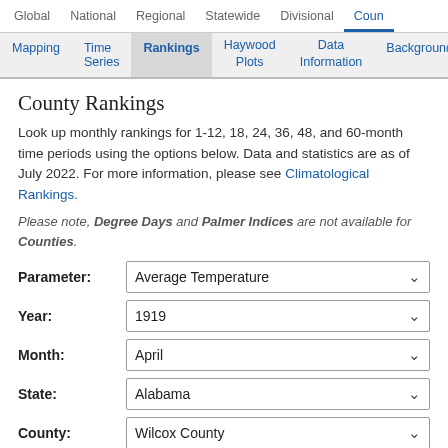Global  National  Regional  Statewide  Divisional  Coun
Mapping  Time Series  Rankings  Haywood Plots  Data Information  Background
County Rankings
Look up monthly rankings for 1-12, 18, 24, 36, 48, and 60-month time periods using the options below. Data and statistics are as of July 2022. For more information, please see Climatological Rankings.
Please note, Degree Days and Palmer Indices are not available for Counties.
| Label | Value |
| --- | --- |
| Parameter: | Average Temperature |
| Year: | 1919 |
| Month: | April |
| State: | Alabama |
| County: | Wilcox County |
Update